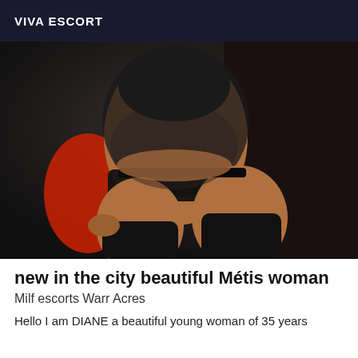VIVA ESCORT
[Figure (photo): A woman in black lingerie and knee-high black stockings posing against a dark background with a red object visible.]
new in the city beautiful Métis woman
Milf escorts Warr Acres
Hello I am DIANE a beautiful young woman of 35 years